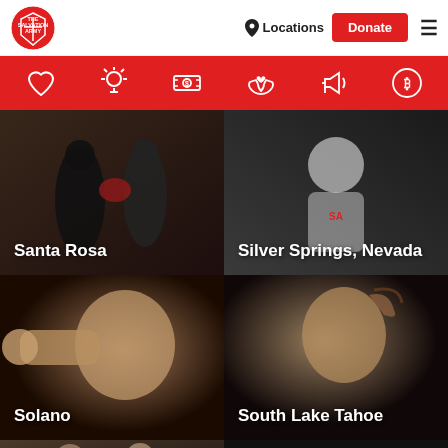[Figure (screenshot): Salvation Army website navigation bar with logo, Locations link, red Donate button, and hamburger menu]
[Figure (screenshot): Red icon bar with heart, lightbulb, dollar bill, hands-with-heart, megaphone, and bitcoin icons]
[Figure (photo): Photo of boxing/martial arts activity with label Santa Rosa]
[Figure (photo): Photo of a woman in white Salvation Army shirt with label Silver Springs, Nevada]
[Figure (photo): Close-up photo of a baby reaching out with label Solano]
[Figure (photo): Profile photo of a young child with label South Lake Tahoe]
[Figure (photo): Partial photo of people with masks at bottom left]
[Figure (photo): Black rectangle at bottom right]